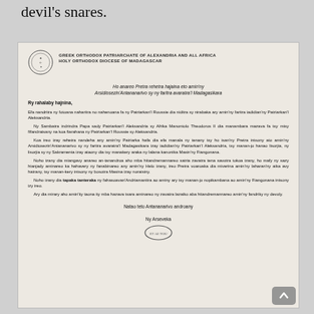devil's snares.
[Figure (photo): Scanned letter from the Greek Orthodox Patriarchate of Alexandria and All Africa, Holy Orthodox Diocese of Madagascar. The letter is addressed to all priests in the Archdiocese of Antananarivo and the northern regions of Madagascar. It contains several paragraphs in Malagasy language discussing matters related to the Patriarchs of Russia and Alexandria, and concludes with 'Natao teto Antananarivo androany' and 'Ny Arseveka'. The letter has a circular stamp at the bottom center and a red diagonal stamp watermark on the lower left.]